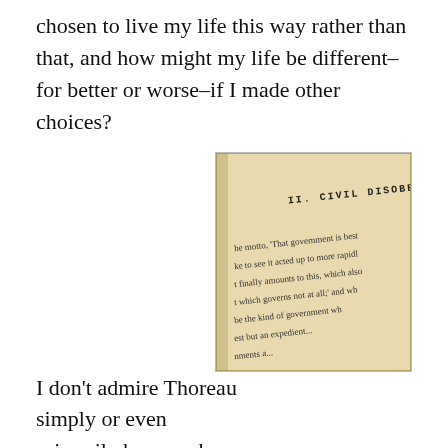chosen to live my life this way rather than that, and how might my life be different–for better or worse–if I made other choices?
I don't admire Thoreau simply or even primarily because he spent two years living and writing in a cabin beside a pond on the outskirts of Concord, Massachusetts. Instead, I admire Thoreau because he lived a life in accordance with his own principles. Not believing in corporeal punishment, Thoreau quit a teaching job that required him to spank lackadaisical students. Not believing in a war fought to further slavery
[Figure (photo): A photograph of an open book showing the chapter heading 'II. CIVIL DISOBEDIENCE' with text below beginning with 'he motto, "That government is best ke to see it acted up to more rapidl t finally amounts to this, which also t which governs not at all;' and wh be the kind of government wh est but an expedient...']